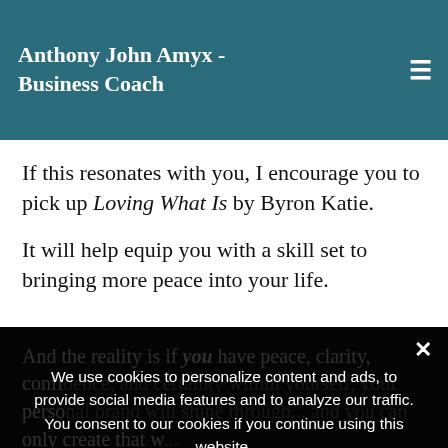Anthony John Amyx - Business Coach
If this resonates with you, I encourage you to pick up Loving What Is by Byron Katie.
It will help equip you with a skill set to bringing more peace into your life.
And the reality is if you have peace, clarity, confidence, and certainty within yourself, your personal brand will shine through... and you can only create that w...
If you are crea... trying to prove how great you are for o... oval, you will never receive it.
We use cookies to personalize content and ads, to provide social media features and to analyze our traffic. You consent to our cookies if you continue using this website.
Privacy Preferences
I Agree